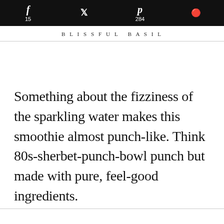f 15  [twitter]  p 284  [reddit]
BLISSFUL BASIL
Something about the fizziness of the sparkling water makes this smoothie almost punch-like. Think 80s-sherbet-punch-bowl punch but made with pure, feel-good ingredients.